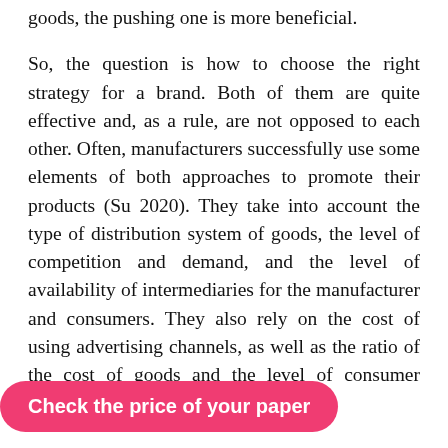goods, the pushing one is more beneficial.
So, the question is how to choose the right strategy for a brand. Both of them are quite effective and, as a rule, are not opposed to each other. Often, manufacturers successfully use some elements of both approaches to promote their products (Su 2020). They take into account the type of distribution system of goods, the level of competition and demand, and the level of availability of intermediaries for the manufacturer and consumers. They also rely on the cost of using advertising channels, as well as the ratio of the cost of goods and the level of consumer income.
The following factors influence the strategy of promotion: consumer characteristics, company's budget, the product type, the level of competition in [the market, the avail]bility of media, and [the size of the orga]nization. Promotion
Check the price of your paper